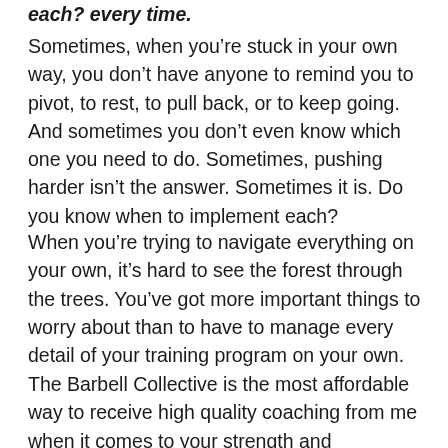each? every time.
Sometimes, when you’re stuck in your own way, you don’t have anyone to remind you to pivot, to rest, to pull back, or to keep going. And sometimes you don’t even know which one you need to do. Sometimes, pushing harder isn’t the answer. Sometimes it is. Do you know when to implement each?
When you’re trying to navigate everything on your own, it’s hard to see the forest through the trees. You’ve got more important things to worry about than to have to manage every detail of your training program on your own.
The Barbell Collective is the most affordable way to receive high quality coaching from me when it comes to your strength and conditioning- so that you don’t have to